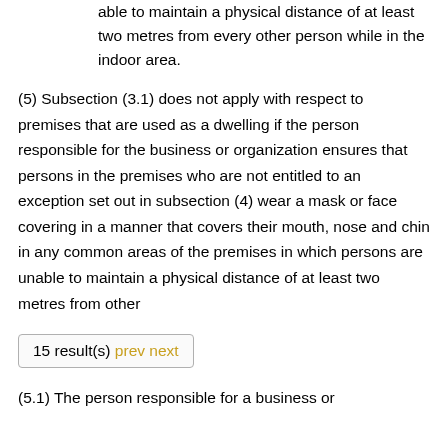able to maintain a physical distance of at least two metres from every other person while in the indoor area.
(5) Subsection (3.1) does not apply with respect to premises that are used as a dwelling if the person responsible for the business or organization ensures that persons in the premises who are not entitled to an exception set out in subsection (4) wear a mask or face covering in a manner that covers their mouth, nose and chin in any common areas of the premises in which persons are unable to maintain a physical distance of at least two metres from other
15 result(s) prev next
(5.1) The person responsible for a business or